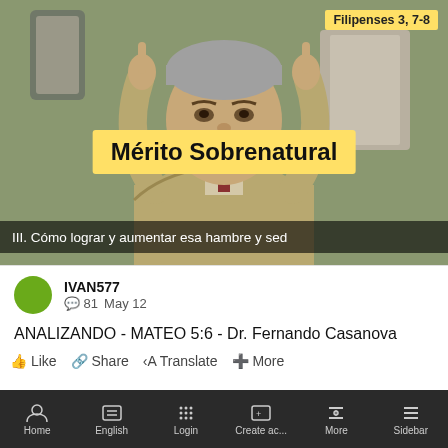[Figure (screenshot): Video thumbnail showing a man with grey hair raising both index fingers, with yellow banner text 'Mérito Sobrenatural', reference 'Filipenses 3, 7-8' in top right, and subtitle 'III. Cómo lograr y aumentar esa hambre y sed' at bottom]
IVAN577
81  May 12
ANALIZANDO - MATEO 5:6 - Dr. Fernando Casanova
Like  Share  Translate  More
Write a comment
Home  English  Login  Create ac...  More  Sidebar